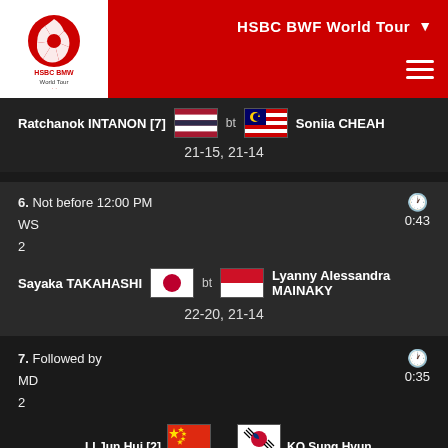HSBC BWF World Tour
[Figure (logo): HSBC BWF World Tour logo, red and white circular design]
Ratchanok INTANON [7] bt Soniia CHEAH
21-15, 21-14
6. Not before 12:00 PM
WS
2
0:43
Sayaka TAKAHASHI bt Lyanny Alessandra MAINAKY
22-20, 21-14
7. Followed by
MD
2
0:35
LI Jun Hui [2] / LIU Yu Chen bt KO Sung Hyun / SHIN Baek Cheol
21-16, 21-15